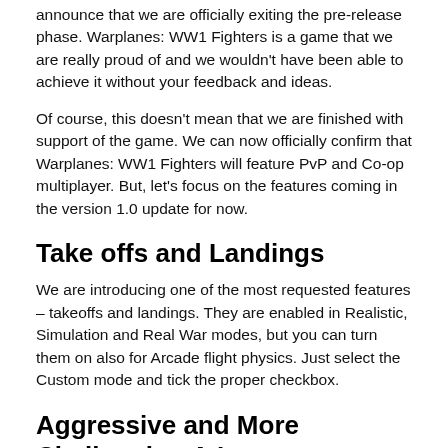announce that we are officially exiting the pre-release phase. Warplanes: WW1 Fighters is a game that we are really proud of and we wouldn't have been able to achieve it without your feedback and ideas.
Of course, this doesn't mean that we are finished with support of the game. We can now officially confirm that Warplanes: WW1 Fighters will feature PvP and Co-op multiplayer. But, let's focus on the features coming in the version 1.0 update for now.
Take offs and Landings
We are introducing one of the most requested features – takeoffs and landings. They are enabled in Realistic, Simulation and Real War modes, but you can turn them on also for Arcade flight physics. Just select the Custom mode and tick the proper checkbox.
Aggressive and More Challenging A.I.
Some of you voiced concerns about the A.I. pilots being